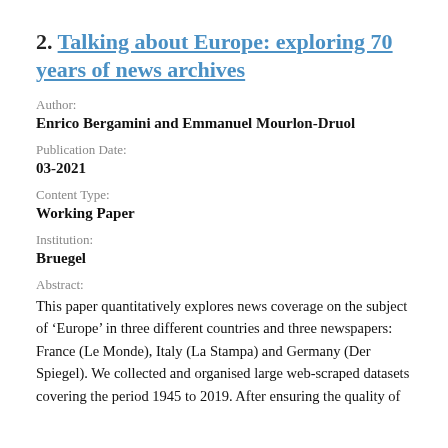2. Talking about Europe: exploring 70 years of news archives
Author:
Enrico Bergamini and Emmanuel Mourlon-Druol
Publication Date:
03-2021
Content Type:
Working Paper
Institution:
Bruegel
Abstract:
This paper quantitatively explores news coverage on the subject of ‘Europe’ in three different countries and three newspapers: France (Le Monde), Italy (La Stampa) and Germany (Der Spiegel). We collected and organised large web-scraped datasets covering the period 1945 to 2019. After ensuring the quality of